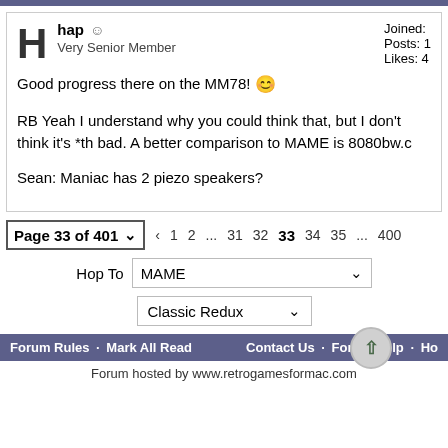hap  Very Senior Member | Joined: | Posts: 1 | Likes: 4
Good progress there on the MM78! 😊
RB Yeah I understand why you could think that, but I don't think it's *th bad. A better comparison to MAME is 8080bw.c
Sean: Maniac has 2 piezo speakers?
Page 33 of 401 ∨  ‹  1  2  ...  31  32  33  34  35  ...  400
Hop To  MAME
Classic Redux
Forum Rules · Mark All Read   Contact Us · Forum Help · Hom
Forum hosted by www.retrogamesformac.com